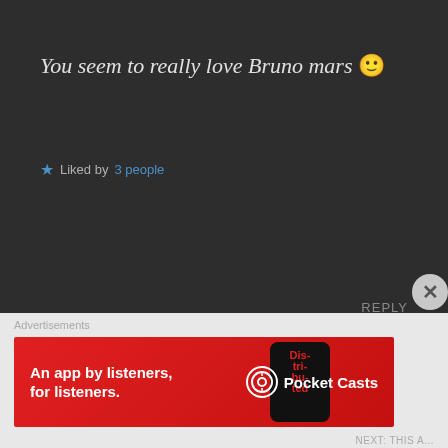You seem to really love Bruno mars 🙂
★ Liked by 3 people
REPLY
[Figure (photo): Circular avatar photo of Siddharth Banga]
Siddharth Banga
MARCH 3, 2018 AT 2:13 PM
Thanks alot! Yes! I really do!!!
Advertisements
[Figure (infographic): Pocket Casts advertisement banner — red background with text 'An app by listeners, for listeners.' and Pocket Casts logo with phone graphic showing 'Distributed' text]